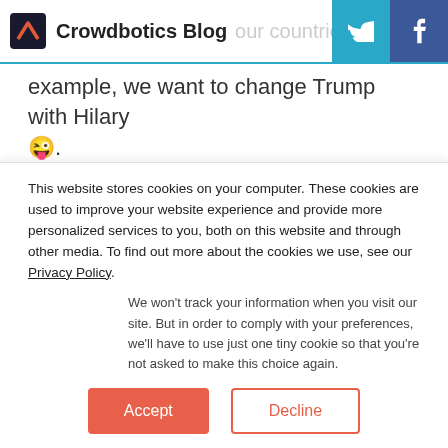Crowdbotics Blog
our countries data. For example, we want to change Trump with Hilary 😜.
[Figure (screenshot): Code block showing: function updateLeader(string countryName, string n]
It's taking 2 parameters and running a loop to
This website stores cookies on your computer. These cookies are used to improve your website experience and provide more personalized services to you, both on this website and through other media. To find out more about the cookies we use, see our Privacy Policy.
We won't track your information when you visit our site. But in order to comply with your preferences, we'll have to use just one tiny cookie so that you're not asked to make this choice again.